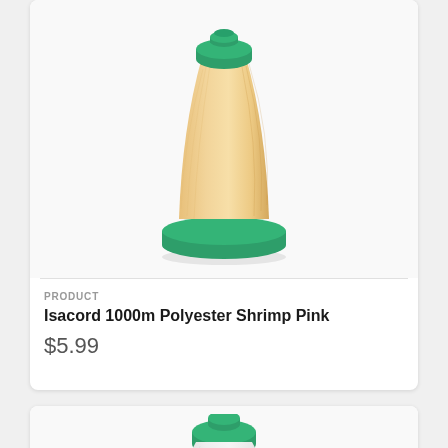[Figure (photo): A spool of Isacord 1000m Polyester Shrimp Pink thread. The spool has a green top cap and green base, with pale peach/tan thread wound around it. White background.]
PRODUCT
Isacord 1000m Polyester Shrimp Pink
$5.99
[Figure (photo): Partial view of a second spool of thread, white/grey thread with a green top cap. The bottom of the spool is cut off by the page edge.]